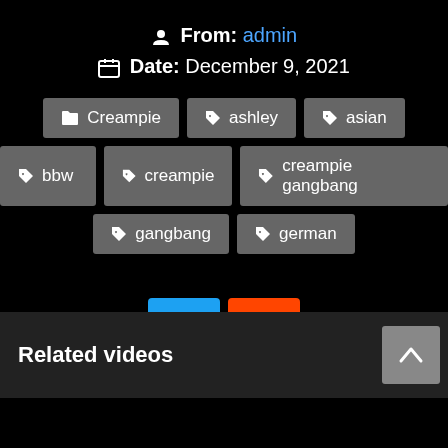From: admin
Date: December 9, 2021
Creampie
ashley
asian
bbw
creampie
creampie gangbang
gangbang
german
[Figure (logo): Twitter and Reddit social share buttons]
Related videos